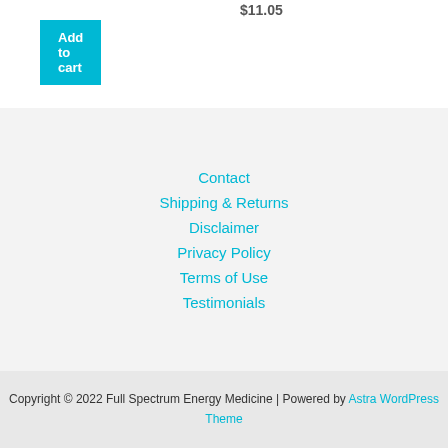Add to cart
$11.05
Add to cart
Contact
Shipping & Returns
Disclaimer
Privacy Policy
Terms of Use
Testimonials
Copyright © 2022 Full Spectrum Energy Medicine | Powered by Astra WordPress Theme